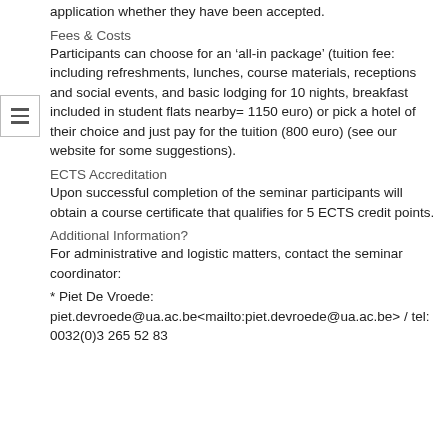application whether they have been accepted.
Fees & Costs
Participants can choose for an ‘all-in package’ (tuition fee: including refreshments, lunches, course materials, receptions and social events, and basic lodging for 10 nights, breakfast included in student flats nearby= 1150 euro) or pick a hotel of their choice and just pay for the tuition (800 euro) (see our website for some suggestions).
ECTS Accreditation
Upon successful completion of the seminar participants will obtain a course certificate that qualifies for 5 ECTS credit points.
Additional Information?
For administrative and logistic matters, contact the seminar coordinator:
* Piet De Vroede: piet.devroede@ua.ac.be<mailto:piet.devroede@ua.ac.be> / tel: 0032(0)3 265 52 83